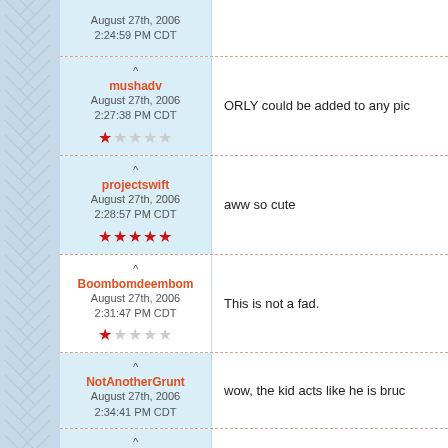August 27th, 2006 2:24:59 PM CDT
mushadv
August 27th, 2006
2:27:38 PM CDT
★☆☆☆☆
ORLY could be added to any pic
projectswift
August 27th, 2006
2:28:57 PM CDT
★★★★★
aww so cute
Boombomdeembom
August 27th, 2006
2:31:47 PM CDT
★☆☆☆☆
This is not a fad.
NotAnotherGrunt
August 27th, 2006
2:34:41 PM CDT
wow, the kid acts like he is bruc